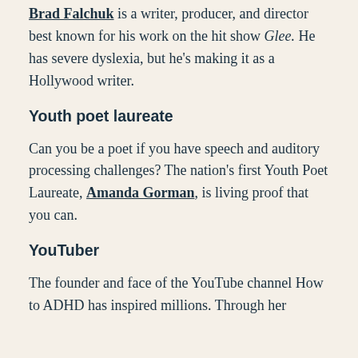Brad Falchuk is a writer, producer, and director best known for his work on the hit show Glee. He has severe dyslexia, but he's making it as a Hollywood writer.
Youth poet laureate
Can you be a poet if you have speech and auditory processing challenges? The nation's first Youth Poet Laureate, Amanda Gorman, is living proof that you can.
YouTuber
The founder and face of the YouTube channel How to ADHD has inspired millions. Through her